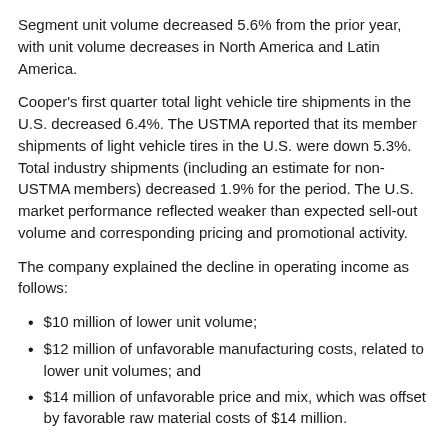Segment unit volume decreased 5.6% from the prior year, with unit volume decreases in North America and Latin America.
Cooper's first quarter total light vehicle tire shipments in the U.S. decreased 6.4%. The USTMA reported that its member shipments of light vehicle tires in the U.S. were down 5.3%. Total industry shipments (including an estimate for non-USTMA members) decreased 1.9% for the period. The U.S. market performance reflected weaker than expected sell-out volume and corresponding pricing and promotional activity.
The company explained the decline in operating income as follows:
$10 million of lower unit volume;
$12 million of unfavorable manufacturing costs, related to lower unit volumes; and
$14 million of unfavorable price and mix, which was offset by favorable raw material costs of $14 million.